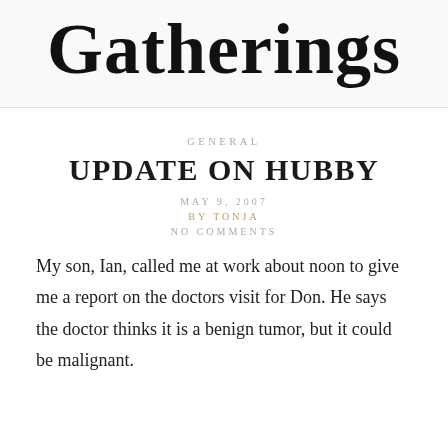Gatherings
GENERAL
UPDATE ON HUBBY
MAY 9, 2007
BY TONJA
NO COMMENTS
My son, Ian, called me at work about noon to give me a report on the doctors visit for Don. He says the doctor thinks it is a benign tumor, but it could be malignant.